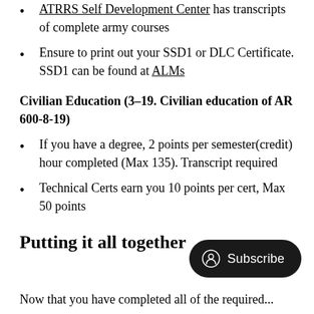ATRRS Self Development Center has transcripts of complete army courses
Ensure to print out your SSD1 or DLC Certificate. SSD1 can be found at ALMs
Civilian Education (3–19. Civilian education of AR 600-8-19)
If you have a degree, 2 points per semester(credit) hour completed (Max 135). Transcript required
Technical Certs earn you 10 points per cert, Max 50 points
Putting it all together
Now that you have completed all of the required...